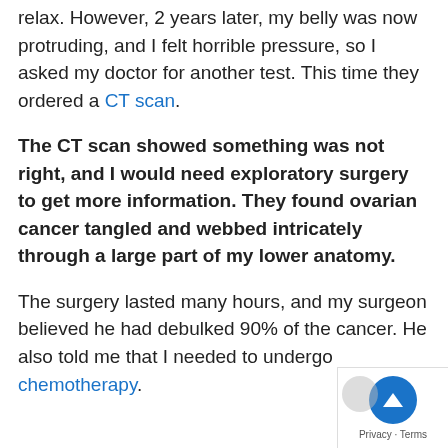relax. However, 2 years later, my belly was now protruding, and I felt horrible pressure, so I asked my doctor for another test. This time they ordered a CT scan.
The CT scan showed something was not right, and I would need exploratory surgery to get more information. They found ovarian cancer tangled and webbed intricately through a large part of my lower anatomy.
The surgery lasted many hours, and my surgeon believed he had debulked 90% of the cancer. He also told me that I needed to undergo chemotherapy.